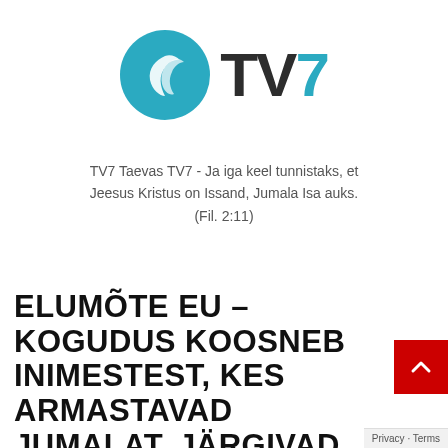[Figure (logo): TV7 logo: teal circle with white flame/wing icon on left, bold 'TV7' text on right with teal '7']
TV7 Taevas TV7 - Ja iga keel tunnistaks, et Jeesus Kristus on Issand, Jumala Isa auks. (Fil. 2:11)
ELUMÕTE EU – KOGUDUS KOOSNEB INIMESTEST, KES ARMASTAVAD JUMALAT, JÄRGIVAD KRISTUST JA JAGAVAD TEMA SÕNUMIT